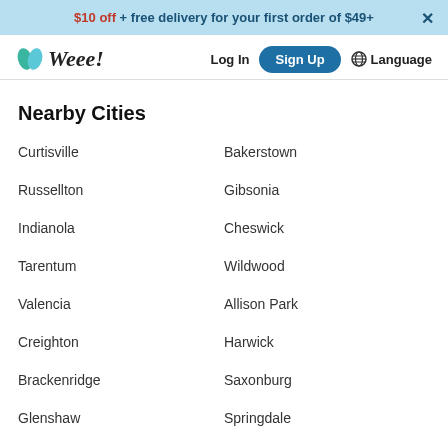$10 off + free delivery for your first order of $49+
[Figure (logo): Weee! grocery delivery logo with teal leaf icon]
Log In
Sign Up
Language
Nearby Cities
Curtisville
Bakerstown
Russellton
Gibsonia
Indianola
Cheswick
Tarentum
Wildwood
Valencia
Allison Park
Creighton
Harwick
Brackenridge
Saxonburg
Glenshaw
Springdale
Oakmont
Natrona Heights